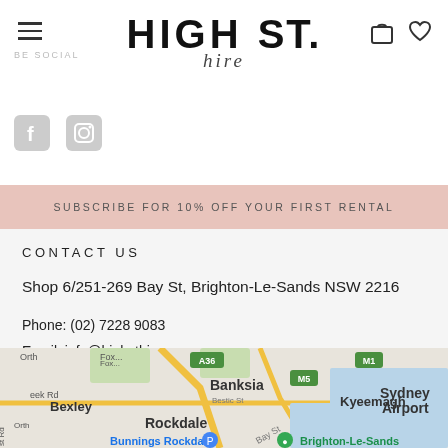HIGH ST. hire
BE SOCIAL
SUBSCRIBE FOR 10% OFF YOUR FIRST RENTAL
CONTACT US
Shop 6/251-269 Bay St, Brighton-Le-Sands NSW 2216
Phone: (02) 7228 9083
Email: info@highsthire.com.au
[Figure (map): Google Maps screenshot showing Brighton-Le-Sands area in Sydney, NSW, with Banksia, Bexley, Rockdale, Kyeemagh, and Sydney Airport visible]